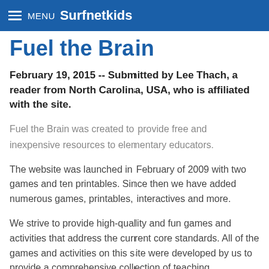MENU Surfnetkids
Fuel the Brain
February 19, 2015 -- Submitted by Lee Thach, a reader from North Carolina, USA, who is affiliated with the site.
Fuel the Brain was created to provide free and inexpensive resources to elementary educators.
The website was launched in February of 2009 with two games and ten printables. Since then we have added numerous games, printables, interactives and more.
We strive to provide high-quality and fun games and activities that address the current core standards. All of the games and activities on this site were developed by us to provide a comprehensive collection of teaching